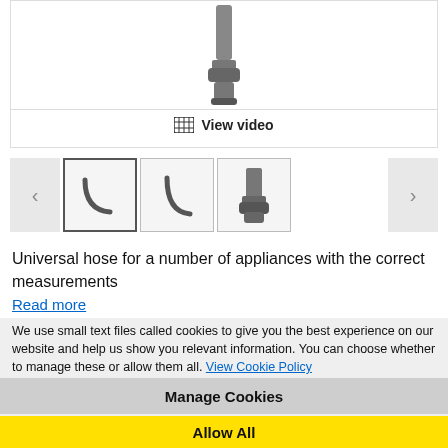[Figure (photo): Main product image area showing a hose/connector partially visible at top, with a 'View video' link at the bottom]
[Figure (photo): Thumbnail strip with left/right navigation arrows and three thumbnail images of the hose product]
Universal hose for a number of appliances with the correct measurements
Read more
We use small text files called cookies to give you the best experience on our website and help us show you relevant information. You can choose whether to manage these or allow them all. View Cookie Policy
Manage Cookies
Allow All